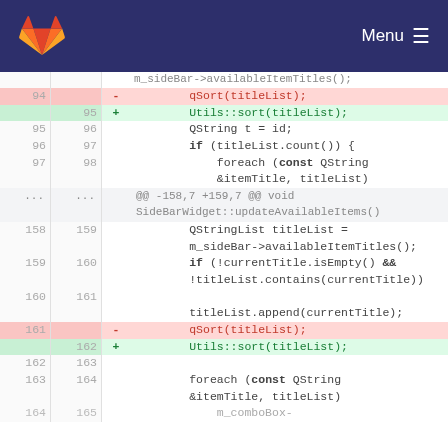GitLab Menu
[Figure (screenshot): Code diff view showing changes replacing qSort(titleList) with Utils::sort(titleList) in two locations, with line numbers and +/- markers on a dark-header GitLab interface.]